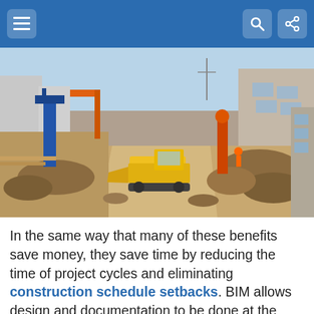[Figure (photo): Construction site with a yellow bulldozer driving down a road between piles of dirt and building materials, with cranes and buildings in the background.]
In the same way that many of these benefits save money, they save time by reducing the time of project cycles and eliminating construction schedule setbacks. BIM allows design and documentation to be done at the same time, and for documentation to be easily changed to adapt to new information such as site conditions. Schedules can be